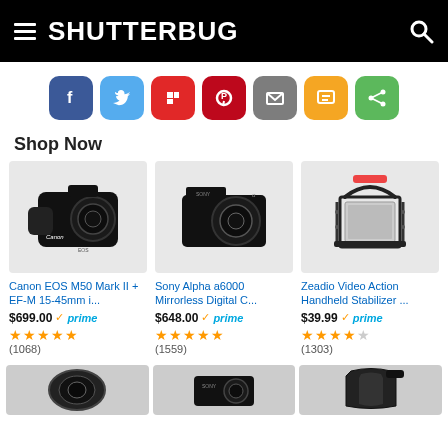SHUTTERBUG
[Figure (infographic): Social share buttons: Facebook (blue), Twitter (light blue), Flipboard (red), Pinterest (red), Email (gray), SMS (yellow/orange), Share (green)]
Shop Now
[Figure (photo): Canon EOS M50 Mark II camera with EF-M 15-45mm lens]
Canon EOS M50 Mark II + EF-M 15-45mm i...
$699.00 ✓prime (1068) 5 stars
[Figure (photo): Sony Alpha a6000 Mirrorless Digital Camera]
Sony Alpha a6000 Mirrorless Digital C...
$648.00 ✓prime (1559) 4.5 stars
[Figure (photo): Zeadio Video Action Handheld Stabilizer camera cage]
Zeadio Video Action Handheld Stabilizer ...
$39.99 ✓prime (1303) 4.5 stars
[Figure (photo): Three partially visible product thumbnails at bottom: Canon lens, Sony camera, camera bag]